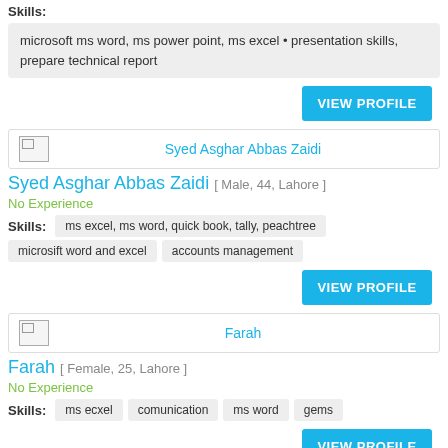Skills:
microsoft ms word, ms power point, ms excel • presentation skills, prepare technical report
VIEW PROFILE
[Figure (other): Profile header box with placeholder image and name link: Syed Asghar Abbas Zaidi]
Syed Asghar Abbas Zaidi [ Male, 44, Lahore ]
No Experience
Skills: ms excel, ms word, quick book, tally, peachtree
microsift word and excel  accounts management
VIEW PROFILE
[Figure (other): Profile header box with placeholder image and name link: Farah]
Farah [ Female, 25, Lahore ]
No Experience
Skills: ms ecxel  comunication  ms word  gems
VIEW PROFILE
[Figure (other): Partial profile header box with placeholder image and partial name: Ehsan ullah]